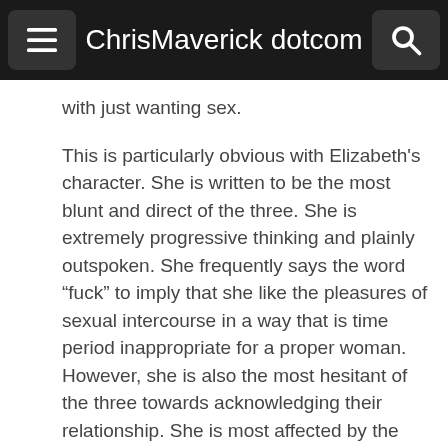ChrisMaverick dotcom
with just wanting sex.
This is particularly obvious with Elizabeth's character. She is written to be the most blunt and direct of the three. She is extremely progressive thinking and plainly outspoken. She frequently says the word “fuck” to imply that she like the pleasures of sexual intercourse in a way that is time period inappropriate for a proper woman. However, she is also the most hesitant of the three towards acknowledging their relationship. She is most affected by the outside sociological forces and shows the most fear. She is also the least willing to accept the BDSM elements that the three eventually discover, at least at first.
The BDSM elements are probably the biggest casualty of the runtime of the film. While the movie